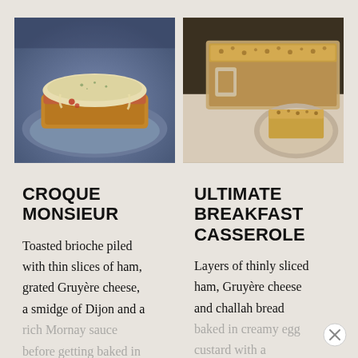[Figure (photo): Photo of Croque Monsieur on a blue plate with melted cheese topping]
[Figure (photo): Photo of Ultimate Breakfast Casserole with crumb topping in a baking dish]
CROQUE MONSIEUR
ULTIMATE BREAKFAST CASSEROLE
Toasted brioche piled with thin slices of ham, grated Gruyère cheese, a smidge of Dijon and a rich Mornay sauce before getting baked in
Layers of thinly sliced ham, Gruyère cheese and challah bread baked in creamy egg custard with a